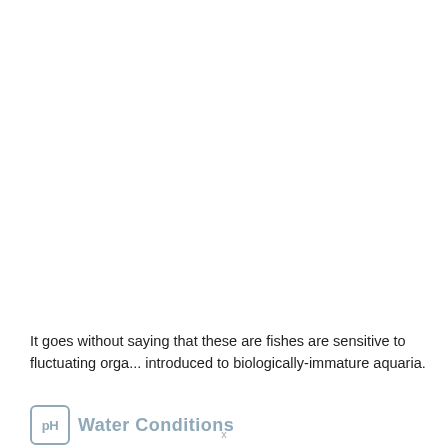It goes without saying that these are fishes are sensitive to fluctuating orga... introduced to biologically-immature aquaria.
pH Water Conditions
x